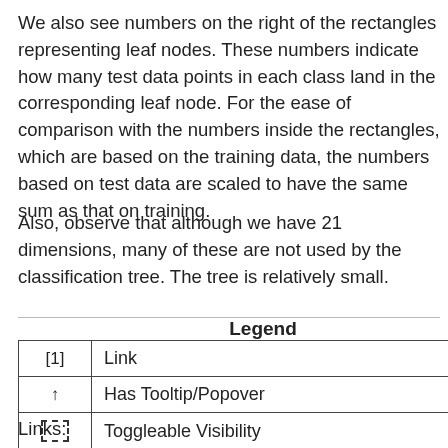We also see numbers on the right of the rectangles representing leaf nodes. These numbers indicate how many test data points in each class land in the corresponding leaf node. For the ease of comparison with the numbers inside the rectangles, which are based on the training data, the numbers based on test data are scaled to have the same sum as that on training.
Also, observe that although we have 21 dimensions, many of these are not used by the classification tree. The tree is relatively small.
|  |  |
| --- | --- |
| [1] | Link |
| ↑ | Has Tooltip/Popover |
| ☐ | Toggleable Visibility |
Links: